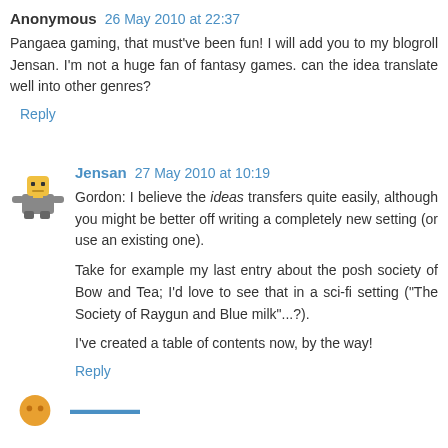Anonymous 26 May 2010 at 22:37
Pangaea gaming, that must've been fun! I will add you to my blogroll Jensan. I'm not a huge fan of fantasy games. can the idea translate well into other genres?
Reply
Jensan 27 May 2010 at 10:19
Gordon: I believe the ideas transfers quite easily, although you might be better off writing a completely new setting (or use an existing one).
Take for example my last entry about the posh society of Bow and Tea; I'd love to see that in a sci-fi setting ("The Society of Raygun and Blue milk"...?).
I've created a table of contents now, by the way!
Reply